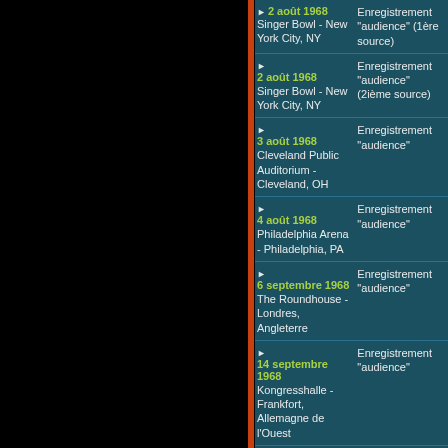| Date / Lieu | Type |
| --- | --- |
| 2 août 1968
Singer Bowl - New York City, NY | Enregistrement "audience" (1ère source) |
| 2 août 1968
Singer Bowl - New York City, NY | Enregistrement "audience" (2ième source) |
| 3 août 1968
Cleveland Public Auditorium - Cleveland, OH | Enregistrement "audience" |
| 4 août 1968
Philadelphia Arena - Philadelphia, PA | Enregistrement "audience" |
| 6 septembre 1968
The Roundhouse - Londres, Angleterre | Enregistrement "audience" |
| 14 septembre 1968
Kongresshalle - Frankfort, Allemagne de l'Ouest | Enregistrement "audience" |
| 15 septembre 1968
Concertgebouw - Amsterdam, Hollande | Enregistrement "audience" (1ère source) |
| 20 septembre 1968
Konserthuset - Stockholm, | Enregistrement "soundboard" |